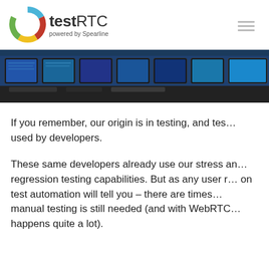testRTC powered by Spearline
[Figure (photo): Photo of server/network equipment room with multiple monitors and cables]
If you remember, our origin is in testing, and testing tools used by developers.
These same developers already use our stress and regression testing capabilities. But as any user relying on test automation will tell you – there are times manual testing is still needed (and with WebRTC this happens quite a lot).